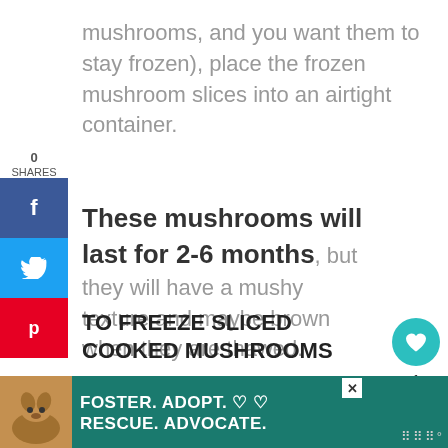mushrooms, and you want them to stay frozen), place the frozen mushroom slices into an airtight container.
These mushrooms will last for 2-6 months, but they will have a mushy texture and maybe brown when they are thawed.
TO FREEZE SLICED COOKED MUSHROOMS
[Figure (screenshot): Social share sidebar with Facebook, Twitter, and Pinterest buttons, showing 0 SHARES count]
[Figure (screenshot): Right-side action buttons: teal heart button with 1 like count and a share button]
[Figure (screenshot): Advertisement banner at bottom: Foster. Adopt. Rescue. Advocate. with dog photo on teal background]